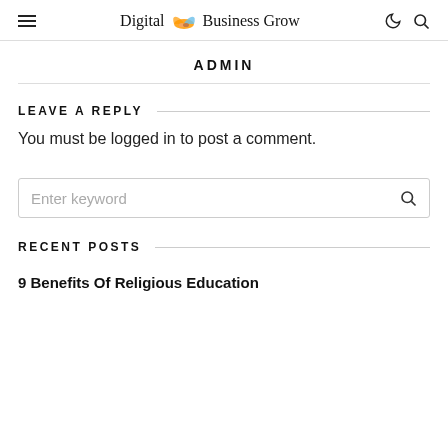Digital Business Grow
ADMIN
LEAVE A REPLY
You must be logged in to post a comment.
Enter keyword
RECENT POSTS
9 Benefits Of Religious Education